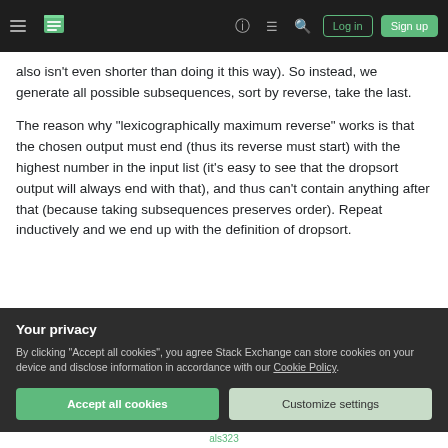Stack Exchange navigation bar with hamburger menu, logo, help, chat, search, Log in and Sign up buttons
also isn't even shorter than doing it this way). So instead, we generate all possible subsequences, sort by reverse, take the last.
The reason why "lexicographically maximum reverse" works is that the chosen output must end (thus its reverse must start) with the highest number in the input list (it's easy to see that the dropsort output will always end with that), and thus can't contain anything after that (because taking subsequences preserves order). Repeat inductively and we end up with the definition of dropsort.
Your privacy
By clicking "Accept all cookies", you agree Stack Exchange can store cookies on your device and disclose information in accordance with our Cookie Policy.
Accept all cookies
Customize settings